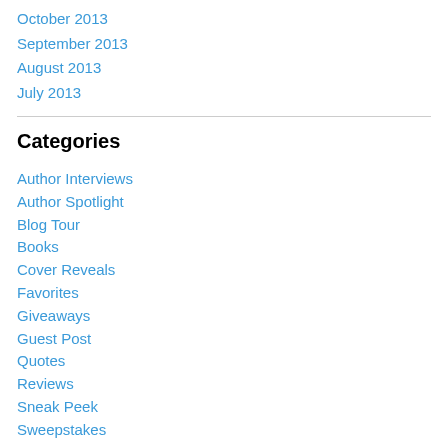October 2013
September 2013
August 2013
July 2013
Categories
Author Interviews
Author Spotlight
Blog Tour
Books
Cover Reveals
Favorites
Giveaways
Guest Post
Quotes
Reviews
Sneak Peek
Sweepstakes